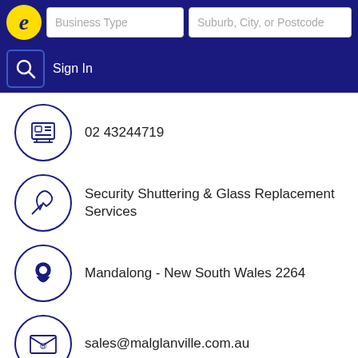Business Type | Suburb, City, or Postcode | Sign In
02 43244719
Security Shuttering & Glass Replacement Services
Mandalong - New South Wales 2264
sales@malglanville.com.au
www.malglanville.com.au
More results nearby or related categories
Security Shutters Mandalong NSW